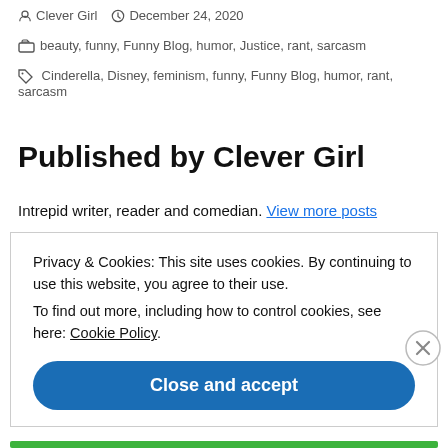Clever Girl  December 24, 2020
beauty, funny, Funny Blog, humor, Justice, rant, sarcasm
Cinderella, Disney, feminism, funny, Funny Blog, humor, rant, sarcasm
Published by Clever Girl
Intrepid writer, reader and comedian. View more posts
Privacy & Cookies: This site uses cookies. By continuing to use this website, you agree to their use.
To find out more, including how to control cookies, see here: Cookie Policy
Close and accept